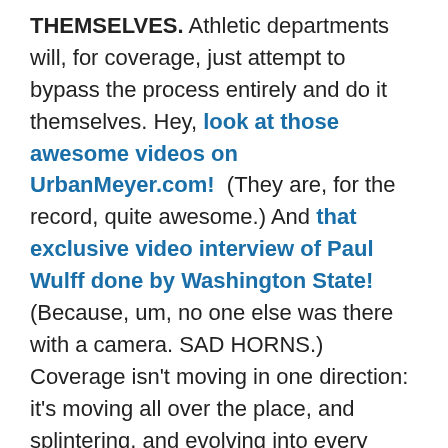THEMSELVES. Athletic departments will, for coverage, just attempt to bypass the process entirely and do it themselves. Hey, look at those awesome videos on UrbanMeyer.com!  (They are, for the record, quite awesome.) And that exclusive video interview of Paul Wulff done by Washington State! (Because, um, no one else was there with a camera. SAD HORNS.)  Coverage isn't moving in one direction: it's moving all over the place, and splintering, and evolving into every more squirmy and befanged forms by the day. /endmediatalk
DISNEYWORLD AS AN ANNUAL VISIT OKAY KEEP TALKING. Underage Big East players could be trying to steal beers off the tables of newly cleared tables in Epcot's Germany pavilion if rumors are true, which they sometimes are. Given the options, nabbing the